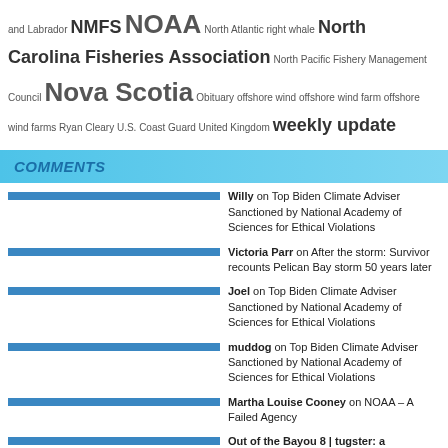and Labrador NMFS NOAA North Atlantic right whale North Carolina Fisheries Association North Pacific Fishery Management Council Nova Scotia Obituary offshore wind offshore wind farm offshore wind farms Ryan Cleary U.S. Coast Guard United Kingdom weekly update
COMMENTS
Willy on Top Biden Climate Adviser Sanctioned by National Academy of Sciences for Ethical Violations
Victoria Parr on After the storm: Survivor recounts Pelican Bay storm 50 years later
Joel on Top Biden Climate Adviser Sanctioned by National Academy of Sciences for Ethical Violations
muddog on Top Biden Climate Adviser Sanctioned by National Academy of Sciences for Ethical Violations
Martha Louise Cooney on NOAA – A Failed Agency
Out of the Bayou 8 | tugster: a waterblog on Wing Slashes Shrimp Trawling Fuel Costs and By-catch Rates
Brick Wenzel on North Carolina Fisheries Association Weekly Update for August 15, 2022
Jerry on Louisiana shrimpers struggle to make ends meet after prices plummet